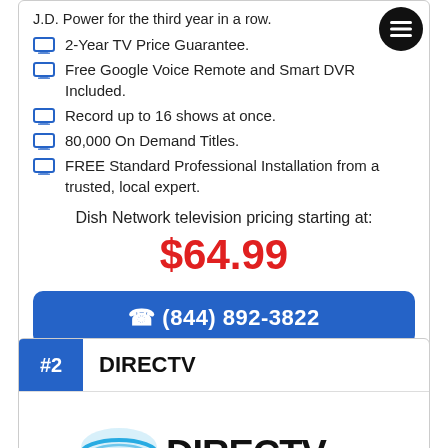J.D. Power for the third year in a row.
2-Year TV Price Guarantee.
Free Google Voice Remote and Smart DVR Included.
Record up to 16 shows at once.
80,000 On Demand Titles.
FREE Standard Professional Installation from a trusted, local expert.
Dish Network television pricing starting at:
$64.99
(844) 892-3822
Call now for Dish Network internet availability at your address.
#2 DIRECTV
[Figure (logo): DIRECTV logo with satellite dish icon]